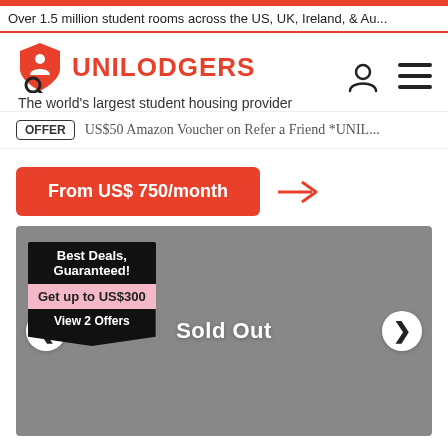Over 1.5 million student rooms across the US, UK, Ireland, & Au...
[Figure (logo): Unilodgers logo: shield icon with magnifying glass, red text UNILODGERS]
The world's largest student housing provider
OFFER  US$50 Amazon Voucher on Refer a Friend *UNIL...
From US$ 750/month
[Figure (photo): Gray image area showing Sold Out overlay, with Best Deals Guaranteed badge, Get up to US$300 offer, View 2 Offers button, and left/right navigation arrows]